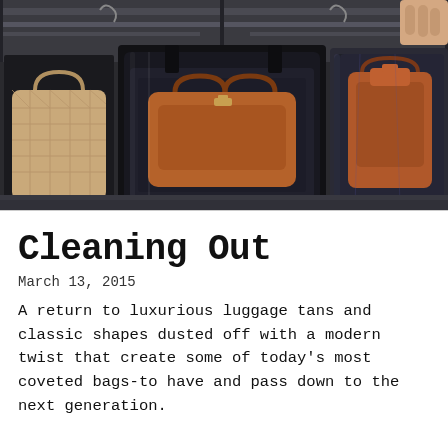[Figure (photo): Photograph of luxury handbags stored in black plastic garment/storage bags hanging from a rack. On the left is a beige quilted handbag, in the center a tan/cognac leather handbag in a black bag with clear plastic window, and on the right another cognac leather bag in a clear plastic bag. The background shows a dark metal retail or storage rack.]
Cleaning Out
March 13, 2015
A return to luxurious luggage tans and classic shapes dusted off with a modern twist that create some of today’s most coveted bags-to have and pass down to the next generation.